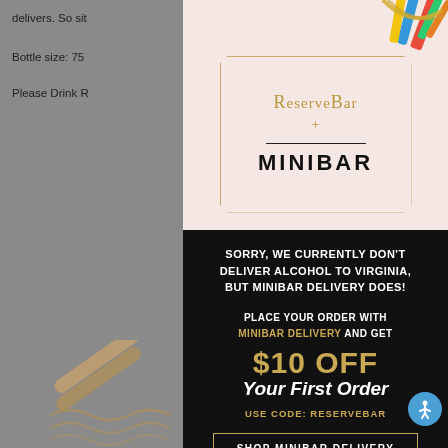delivers. So sit
Bottle size: 75
Please Drink R
[Figure (logo): ReserveBar + Minibar co-brand logo on pink background with octagonal border]
SORRY, WE CURRENTLY DON'T DELIVER ALCOHOL TO VIRGINIA, BUT MINIBAR DELIVERY DOES!
PLACE YOUR ORDER WITH MINIBAR DELIVERY AND GET $10 OFF Your First Order USE CODE: RESERVEBAR
SHOP MINIBAR DELIVERY
*Exclusions may apply.
olls, orange h raisins and
with banana,